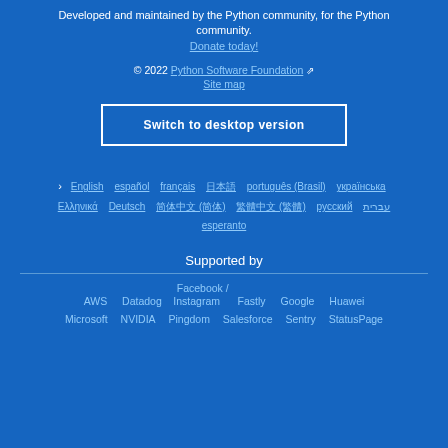Developed and maintained by the Python community, for the Python community.
Donate today!
© 2022 Python Software Foundation
Site map
Switch to desktop version
English  español  français  日本語  português (Brasil)  українська  Ελληνικά  Deutsch  简体中文 (Simplified)  繁體中文 (Traditional)  русский  עברית  esperanto
Supported by
AWS  Datadog  Facebook / Instagram  Fastly  Google  Huawei
Microsoft  NVIDIA  Pingdom  Salesforce  Sentry  StatusPage